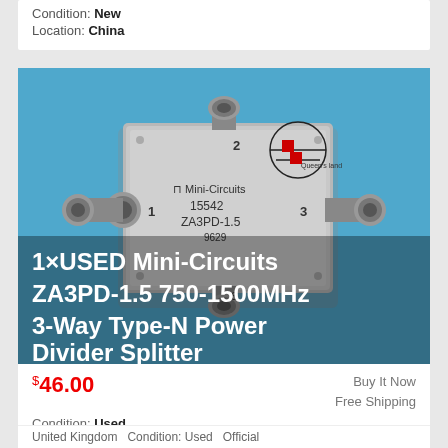Condition: New
Location: China
[Figure (photo): Mini-Circuits ZA3PD-1.5 power divider splitter on blue background with overlay text: 1×USED Mini-Circuits ZA3PD-1.5 750-1500MHz 3-Way Type-N Power Divider Splitter]
$46.00
Buy It Now
Free Shipping
Condition: Used
Location: 中国, China
United Kingdom  Condition: Used  Official